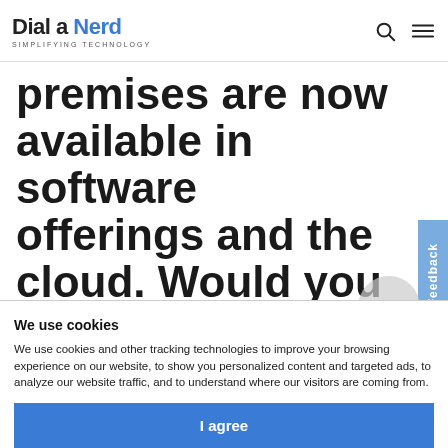Dial a Nerd — SIMPLIFYING TECHNOLOGY
premises are now available in software offerings and the cloud. Would you
consider moving your PBX into the cloud? How would, what
We use cookies
We use cookies and other tracking technologies to improve your browsing experience on our website, to show you personalized content and targeted ads, to analyze our website traffic, and to understand where our visitors are coming from.
I agree